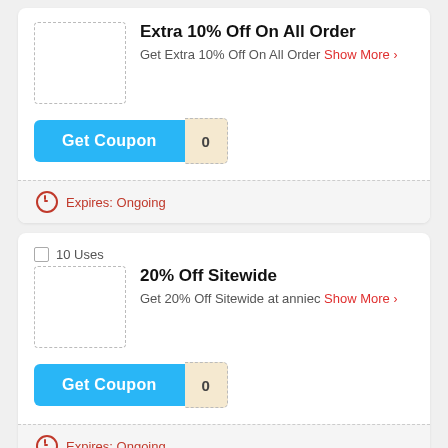Extra 10% Off On All Order
Get Extra 10% Off On All Order Show More >
Get Coupon 0
Expires: Ongoing
10 Uses
20% Off Sitewide
Get 20% Off Sitewide at anniec Show More >
Get Coupon 0
Expires: Ongoing
18 Uses